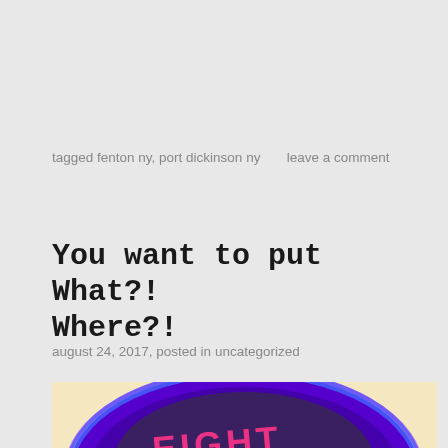tagged fenton ny, port dickinson ny      leave a comment
You want to put What?! Where?!
august 24, 2017, posted in uncategorized
[Figure (photo): Colorful artwork with pink text reading 'EIGHT' or similar on a purple/blue circular background with a light background, partially cropped]